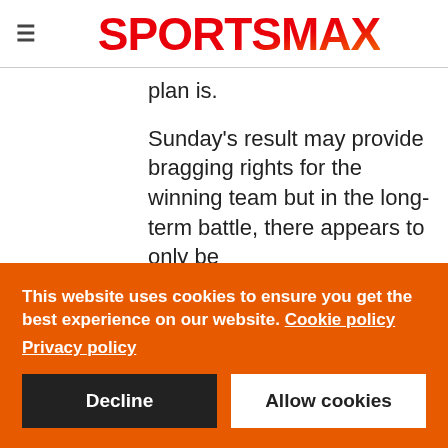SPORTSMAX
plan is.
Sunday's result may provide bragging rights for the winning team but in the long-term battle, there appears to only be
This website uses cookies to ensure you get the best experience on our website. Cookie policy Privacy policy
Decline
Allow cookies